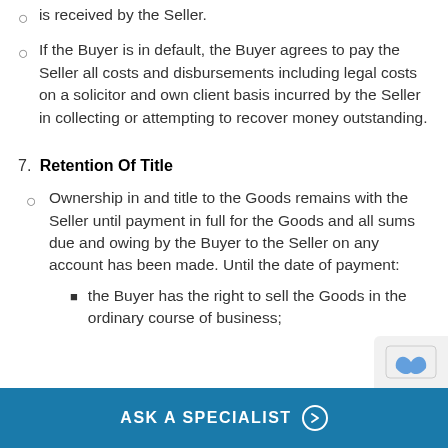is received by the Seller.
If the Buyer is in default, the Buyer agrees to pay the Seller all costs and disbursements including legal costs on a solicitor and own client basis incurred by the Seller in collecting or attempting to recover money outstanding.
7. Retention Of Title
Ownership in and title to the Goods remains with the Seller until payment in full for the Goods and all sums due and owing by the Buyer to the Seller on any account has been made. Until the date of payment:
the Buyer has the right to sell the Goods in the ordinary course of business;
ASK A SPECIALIST